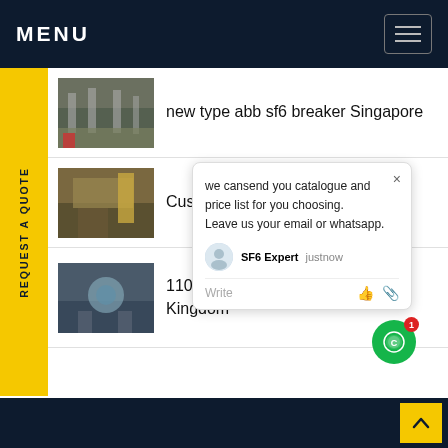MENU
new type abb sf6 breaker Singapore
Custom Designed dilo di...
110kv sf6 gas in circuit br... Kingdom
[Figure (screenshot): Chat popup with message: we cansend you catalogue and price list for you choosing. Leave us your email or whatsapp. SF6 Expert just now. Write input row.]